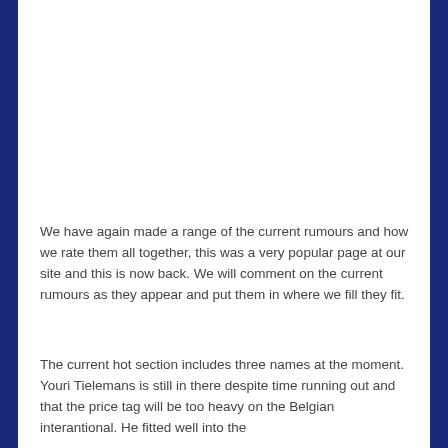We have again made a range of the current rumours and how we rate them all together, this was a very popular page at our site and this is now back. We will comment on the current rumours as they appear and put them in where we fill they fit.
The current hot section includes three names at the moment. Youri Tielemans is still in there despite time running out and that the price tag will be too heavy on the Belgian interantional. He fitted well into the